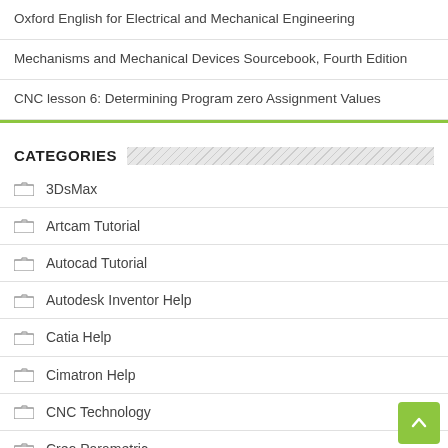Oxford English for Electrical and Mechanical Engineering
Mechanisms and Mechanical Devices Sourcebook, Fourth Edition
CNC lesson 6: Determining Program zero Assignment Values
CATEGORIES
3DsMax
Artcam Tutorial
Autocad Tutorial
Autodesk Inventor Help
Catia Help
Cimatron Help
CNC Technology
Creo Parametric
Documents